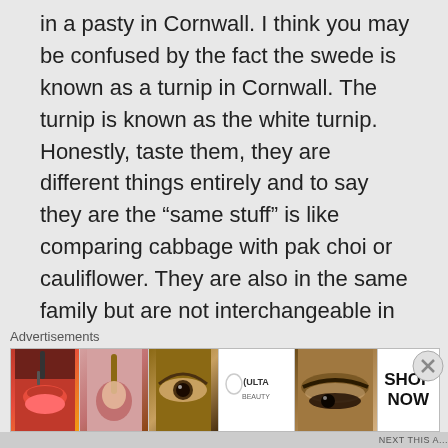in a pasty in Cornwall. I think you may be confused by the fact the swede is known as a turnip in Cornwall. The turnip is known as the white turnip. Honestly, taste them, they are different things entirely and to say they are the “same stuff” is like comparing cabbage with pak choi or cauliflower. They are also in the same family but are not interchangeable in classic recipes.
★ Like
Advertisements
[Figure (photo): Advertisement banner showing beauty/makeup images including lips, makeup brush, eye, Ulta Beauty logo, eyebrow close-up, and SHOP NOW call to action]